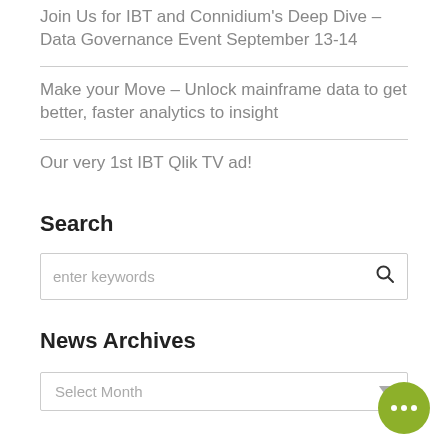Join Us for IBT and Connidium's Deep Dive – Data Governance Event September 13-14
Make your Move – Unlock mainframe data to get better, faster analytics to insight
Our very 1st IBT Qlik TV ad!
Search
enter keywords
News Archives
Select Month